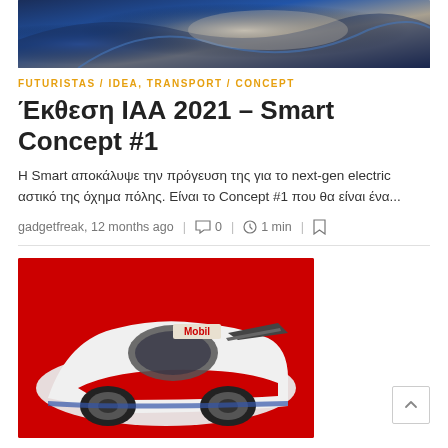[Figure (photo): Top portion of a car interior/exterior design sketch showing blue and silver curved surfaces]
FUTURISTAS / IDEA, TRANSPORT / CONCEPT
Έκθεση ΙΑΑ 2021 – Smart Concept #1
Η Smart αποκάλυψε την πρόγευση της για το next-gen electric αστικό της όχημα πόλης. Είναι το Concept #1 που θα είναι ένα...
gadgetfreak, 12 months ago  |  0  |  1 min
[Figure (illustration): Bottom portion showing a racing car sketch/illustration with red background and Mobil branding, white and red livery]